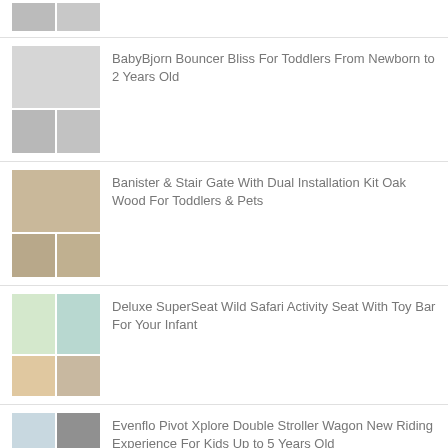[Figure (photo): Partial product images at top of page (cropped)]
BabyBjorn Bouncer Bliss For Toddlers From Newborn to 2 Years Old
Banister & Stair Gate With Dual Installation Kit Oak Wood For Toddlers & Pets
Deluxe SuperSeat Wild Safari Activity Seat With Toy Bar For Your Infant
Evenflo Pivot Xplore Double Stroller Wagon New Riding Experience For Kids Up to 5 Years Old
PRODUCT CATEGORIES